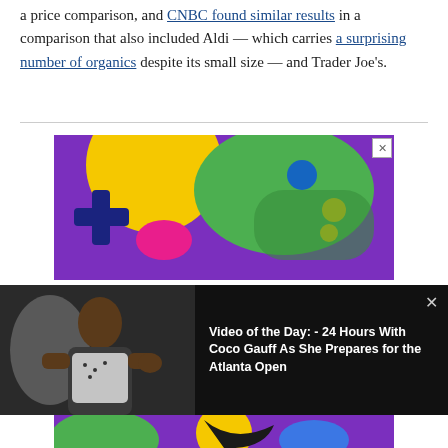a price comparison, and CNBC found similar results in a comparison that also included Aldi — which carries a surprising number of organics despite its small size — and Trader Joe's.
[Figure (photo): Colorful advertisement banner with gaming controller imagery on purple/green background with close X button]
[Figure (screenshot): Video overlay panel on black background showing a person standing, with text: Video of the Day: - 24 Hours With Coco Gauff As She Prepares for the Atlanta Open, with X close button]
[Figure (photo): Bottom portion of colorful advertisement banner continuing from above, showing green and yellow shapes on purple background]